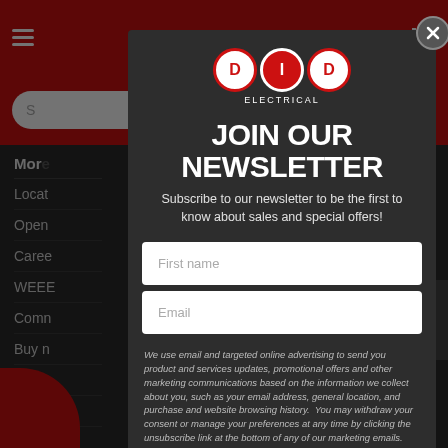[Figure (screenshot): DID Electrical website newsletter signup modal overlay on dark website background with red header, hamburger menu, search bar, and left navigation menu items]
JOIN OUR NEWSLETTER
Subscribe to our newsletter to be the first to know about sales and special offers!
First name
Email
We use email and targeted online advertising to send you product and services updates, promotional offers and other marketing communications based on the information we collect about you, such as your email address, general location, and purchase and website browsing history. You may withdraw your consent or manage your preferences at any time by clicking the unsubscribe link at the bottom of any of our marketing emails.